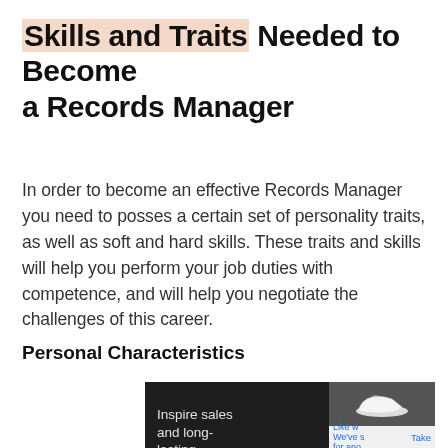Skills and Traits Needed to Become a Records Manager
In order to become an effective Records Manager you need to posses a certain set of personality traits, as well as soft and hard skills. These traits and skills will help you perform your job duties with competence, and will help you negotiate the challenges of this career.
Personal Characteristics
[Figure (other): Advertisement banner with dark background. Text reads 'Inspire sales and long-lasting retention'. Right side shows a product image of white sneakers with partial text 'Like w... We've s... for ano... Take...']